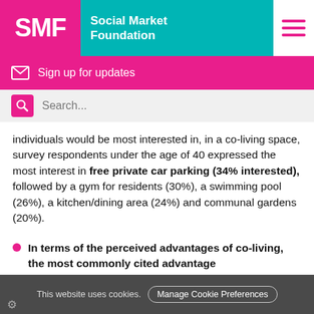SMF Social Market Foundation
Sign up for updates
Search...
individuals would be most interested in, in a co-living space, survey respondents under the age of 40 expressed the most interest in free private car parking (34% interested), followed by a gym for residents (30%), a swimming pool (26%), a kitchen/dining area (24%) and communal gardens (20%).
In terms of the perceived advantages of co-living, the most commonly cited advantage
This website uses cookies. Manage Cookie Preferences